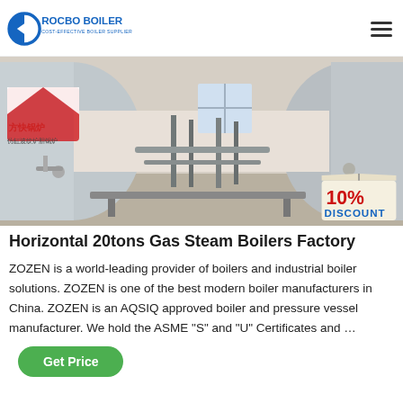ROCBO BOILER — Cost-Effective Boiler Supplier
[Figure (photo): Industrial horizontal gas steam boilers in a factory setting, two large cylindrical silver tanks side by side with piping and connections visible, 10% DISCOUNT badge in bottom right corner]
Horizontal 20tons Gas Steam Boilers Factory
ZOZEN is a world-leading provider of boilers and industrial boiler solutions. ZOZEN is one of the best modern boiler manufacturers in China. ZOZEN is an AQSIQ approved boiler and pressure vessel manufacturer. We hold the ASME "S" and "U" Certificates and …